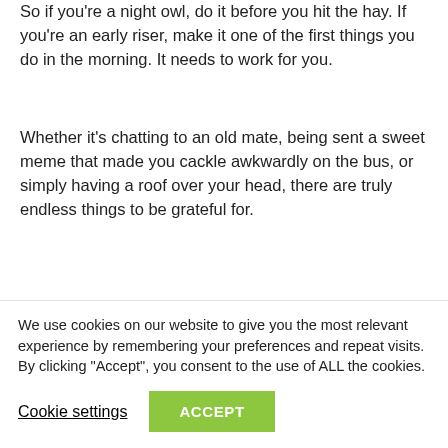So if you’re a night owl, do it before you hit the hay. If you’re an early riser, make it one of the first things you do in the morning. It needs to work for you.
Whether it’s chatting to an old mate, being sent a sweet meme that made you cackle awkwardly on the bus, or simply having a roof over your head, there are truly endless things to be grateful for.
To be blunt: If you can’t come up with five, you need to try harder.
We use cookies on our website to give you the most relevant experience by remembering your preferences and repeat visits. By clicking “Accept”, you consent to the use of ALL the cookies.
Cookie settings
ACCEPT